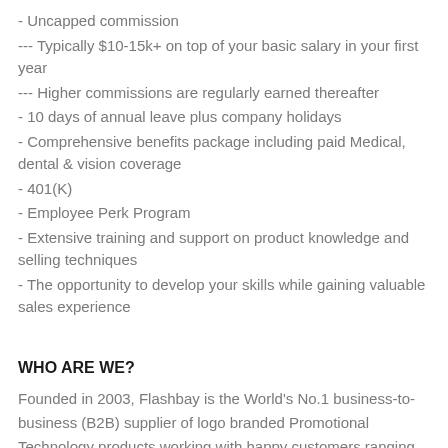- Uncapped commission
--- Typically $10-15k+ on top of your basic salary in your first year
--- Higher commissions are regularly earned thereafter
- 10 days of annual leave plus company holidays
- Comprehensive benefits package including paid Medical, dental & vision coverage
- 401(K)
- Employee Perk Program
- Extensive training and support on product knowledge and selling techniques
- The opportunity to develop your skills while gaining valuable sales experience
WHO ARE WE?
Founded in 2003, Flashbay is the World's No.1 business-to-business (B2B) supplier of logo branded Promotional Technology products working with happy customers ranging from the smallest schools to the largest multinationals, globally. We offer an attractive range of designs within our Memory, Power and Audio categories, offering unbeatable prices coupled with fast and efficient service.